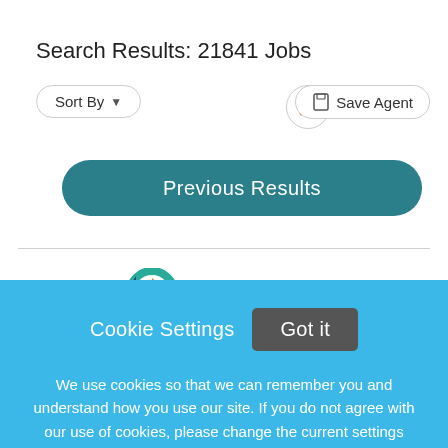Search Results: 21841 Jobs
Sort By ▼
[Figure (other): RSS feed icon button (orange wifi-style icon in a circle border)]
Save Agent
Previous Results
[Figure (logo): Partially visible logo: circular teal/orange icon and partial text starting with 'Ten...']
Cookie Settings
Got it
We use cookies so that we can remember you and understand how you use our site. If you do not agree with our use of cookies, please change the current settings found in our Cookie Policy. Otherwise, you agree to the use of the cookies as they are currently set.